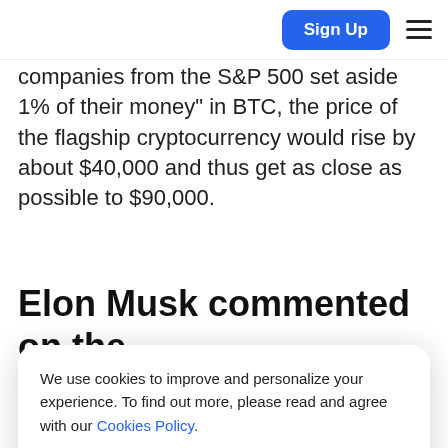Sign Up [hamburger menu]
companies from the S&P 500 set aside 1% of their money" in BTC, the price of the flagship cryptocurrency would rise by about $40,000 and thus get as close as possible to $90,000.
Elon Musk commented on the
[Figure (screenshot): Cookie consent banner overlay with text: 'We use cookies to improve and personalize your experience. To find out more, please read and agree with our Cookies Policy.' and an 'Allow Cookies' button]
The recent high-profile statements by Elon Musk